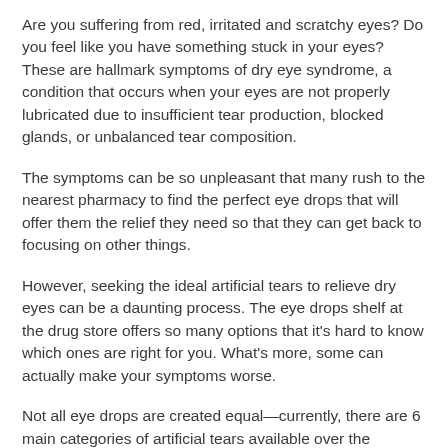Are you suffering from red, irritated and scratchy eyes? Do you feel like you have something stuck in your eyes? These are hallmark symptoms of dry eye syndrome, a condition that occurs when your eyes are not properly lubricated due to insufficient tear production, blocked glands, or unbalanced tear composition.
The symptoms can be so unpleasant that many rush to the nearest pharmacy to find the perfect eye drops that will offer them the relief they need so that they can get back to focusing on other things.
However, seeking the ideal artificial tears to relieve dry eyes can be a daunting process. The eye drops shelf at the drug store offers so many options that it's hard to know which ones are right for you. What's more, some can actually make your symptoms worse.
Not all eye drops are created equal—currently, there are 6 main categories of artificial tears available over the counter. Choosing the artificial tears based on your specific needs can help narrow your options.